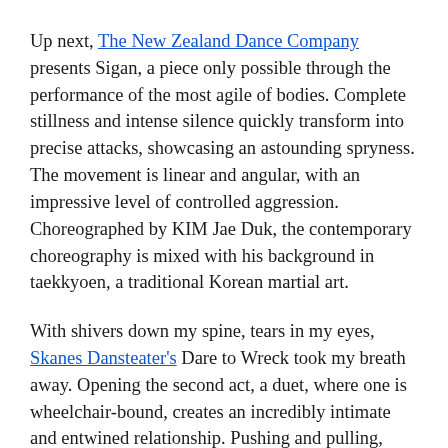Up next, The New Zealand Dance Company presents Sigan, a piece only possible through the performance of the most agile of bodies. Complete stillness and intense silence quickly transform into precise attacks, showcasing an astounding spryness. The movement is linear and angular, with an impressive level of controlled aggression. Choreographed by KIM Jae Duk, the contemporary choreography is mixed with his background in taekkyoen, a traditional Korean martial art.
With shivers down my spine, tears in my eyes, Skanes Dansteater's Dare to Wreck took my breath away. Opening the second act, a duet, where one is wheelchair-bound, creates an incredibly intimate and entwined relationship. Pushing and pulling, falling, and extending past human limits, I felt suspended in silence and emotion through the unique duet. This honest and raw piece is performed and choreographed by Sweden's Madeleine Mansson and Peder Nilsson. Ending with a deserved standing ovation, I will go out of my way to see this